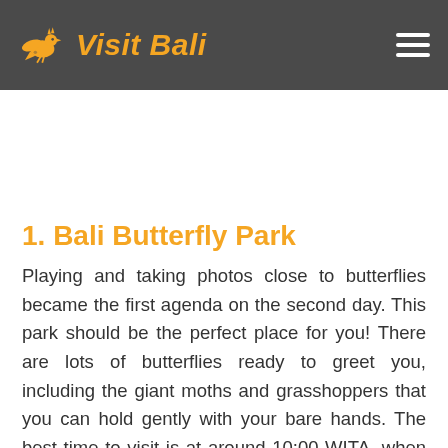Visit Bali
1. Bali Butterfly Park
Playing and taking photos close to butterflies became the first agenda on the second day. This park should be the perfect place for you! There are lots of butterflies ready to greet you, including the giant moths and grasshoppers that you can hold gently with your bare hands. The best time to visit is at around 10:00 WITA, when the butterflies are